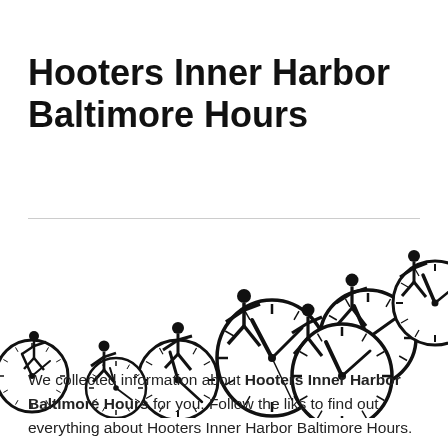Hooters Inner Harbor Baltimore Hours
[Figure (illustration): Illustration of stick figures running across a series of analog clocks of varying sizes, arranged diagonally from lower-left to upper-right, conveying the concept of time and hours.]
We collected information about Hooters Inner Harbor Baltimore Hours for you. Follow the liks to find out everything about Hooters Inner Harbor Baltimore Hours.